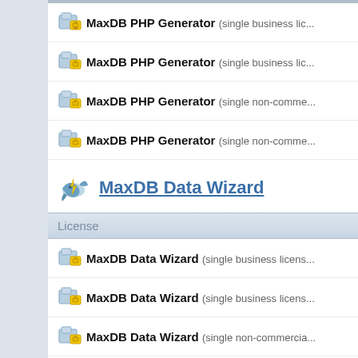MaxDB PHP Generator (single business lic...)
MaxDB PHP Generator (single business lic...)
MaxDB PHP Generator (single non-comme...)
MaxDB PHP Generator (single non-comme...)
MaxDB Data Wizard
License
MaxDB Data Wizard (single business licens...)
MaxDB Data Wizard (single business licens...)
MaxDB Data Wizard (single non-commercia...)
MaxDB Data Wizard (single non-commercia...)
MaxDB Data Wizard (site business license ...)
MaxDB Data Wizard (site business license -...)
MaxDB Data Wizard (site non-commercial li...)
MaxDB Data Wizard (site non-commercial li...)